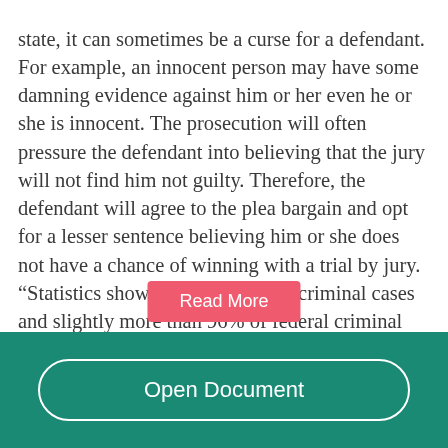state, it can sometimes be a curse for a defendant. For example, an innocent person may have some damning evidence against him or her even he or she is innocent. The prosecution will often pressure the defendant into believing that the jury will not find him not guilty. Therefore, the defendant will agree to the plea bargain and opt for a lesser sentence believing him or she does not have a chance of winning with a trial by jury. “Statistics show that 94% of state criminal cases and slightly more than 96% of federal criminal cases eventually resolved through a negotiated plea.”